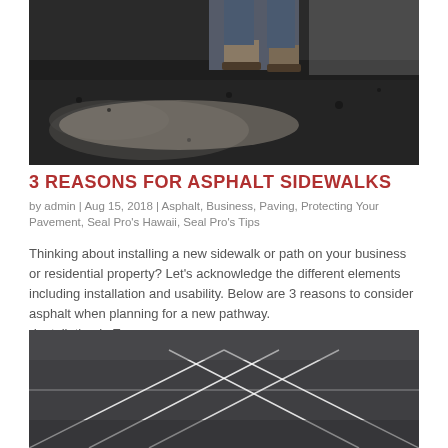[Figure (photo): Close-up photo of asphalt being spread on a surface, with work boots visible at the top of the image.]
3 REASONS FOR ASPHALT SIDEWALKS
by admin | Aug 15, 2018 | Asphalt, Business, Paving, Protecting Your Pavement, Seal Pro's Hawaii, Seal Pro's Tips
Thinking about installing a new sidewalk or path on your business or residential property? Let’s acknowledge the different elements including installation and usability. Below are 3 reasons to consider asphalt when planning for a new pathway.
•Installation is Easy…
[Figure (photo): Aerial view of a dark asphalt parking lot with white painted parking lines.]